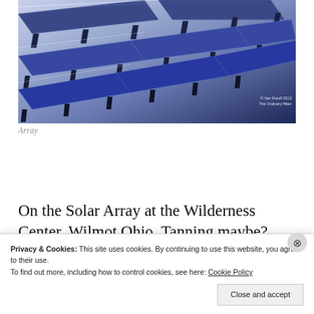[Figure (photo): Solar panels arranged in a diagonal array against a blue-purple sky background. Photo credit: © Van Roloff 2013, The Ordinary Hiker]
Array
On the Solar Array at the Wilderness Center, Wilmot Ohio. Tanning maybe? Actually, the array also provides some prime nesting spots. My Friday Friends.
Privacy & Cookies: This site uses cookies. By continuing to use this website, you agree to their use.
To find out more, including how to control cookies, see here: Cookie Policy
Close and accept